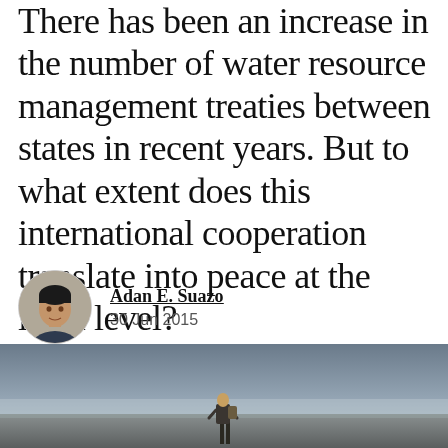There has been an increase in the number of water resource management treaties between states in recent years. But to what extent does this international cooperation translate into peace at the local level?
Adan E. Suazo
30 Jun 2015
[Figure (photo): A lone figure standing in a misty, wide open landscape, viewed from behind, with a moody grey sky.]